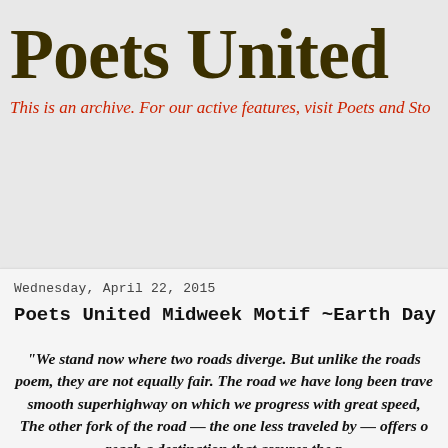Poets United
This is an archive. For our active features, visit Poets and Sto
Wednesday, April 22, 2015
Poets United Midweek Motif ~Earth Day or Earthiness
“We stand now where two roads diverge. But unlike the roads in a poem, they are not equally fair. The road we have long been trave… smooth superhighway on which we progress with great speed, The other fork of the road — the one less traveled by — offers o… reach a destination that assures the p…